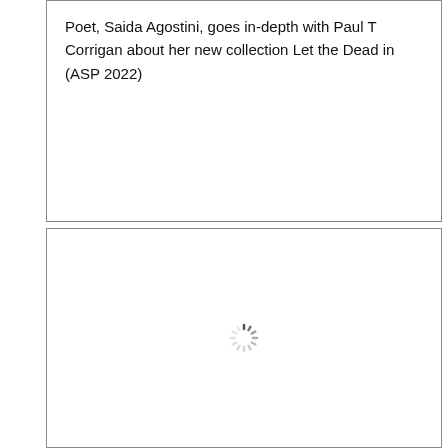Poet, Saida Agostini, goes in-depth with Paul T Corrigan about her new collection Let the Dead in (ASP 2022)
[Figure (other): A bordered card/panel with a loading spinner icon centered in the lower half of the page, indicating content is loading.]